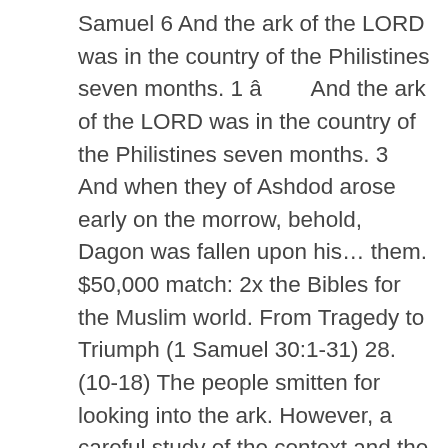Samuel 6 And the ark of the LORD was in the country of the Philistines seven months. 1 â        And the ark of the LORD was in the country of the Philistines seven months. 3 And when they of Ashdod arose early on the morrow, behold, Dagon was fallen upon his… them. $50,000 match: 2x the Bibles for the Muslim world. From Tragedy to Triumph (1 Samuel 30:1-31) 28. (10-18) The people smitten for looking into the ark. However, a careful study of the context and the passage demonstrates that the Masoretic reading of 50,070 is … wonderfully: or, reproachfully. 5 Wherefore ye shall make images of your emerods, and images of your mice that mar the land; and ye shall give glory unto the God of Israel: peradventure he will lighten his hand from off you, and from off your gods, and from off your land. 1 Samuel chapter 6 King James Version. Chapter 6. In